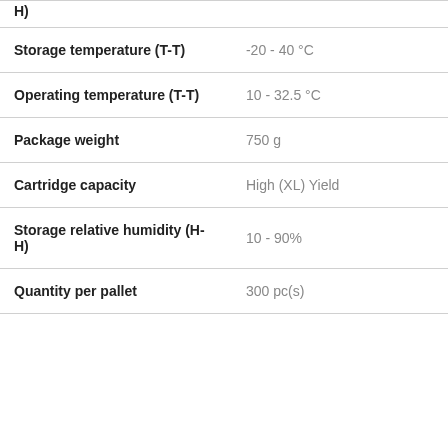| Property | Value |
| --- | --- |
| H) |  |
| Storage temperature (T-T) | -20 - 40 °C |
| Operating temperature (T-T) | 10 - 32.5 °C |
| Package weight | 750 g |
| Cartridge capacity | High (XL) Yield |
| Storage relative humidity (H-H) | 10 - 90% |
| Quantity per pallet | 300 pc(s) |